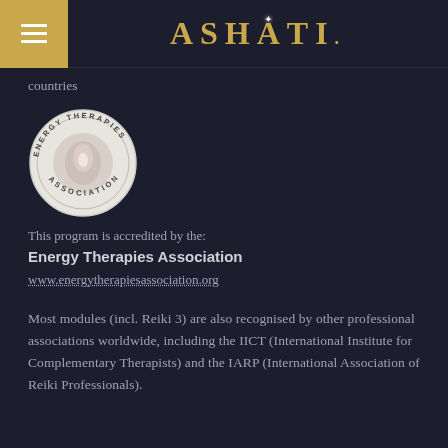ASHATI.
countries
[Figure (logo): Circular badge/seal for Energy Therapies Association with text around the rim and an image in the centre]
This program is accredited by the:
Energy Therapies Association
www.energytherapiesassociation.org
Most modules (incl. Reiki 3) are also recognised by other professional associations worldwide, including the IICT (International Institute for Complementary Therapists) and the IARP (International Association of Reiki Professionals).